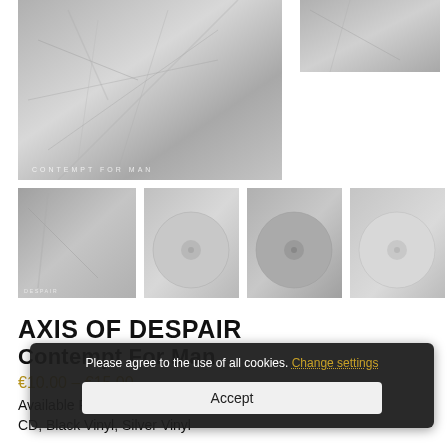[Figure (photo): Main product image showing album artwork for Contempt For Man by Axis of Despair - monochrome/grayscale artwork with text 'CONTEMPT FOR MAN' at bottom]
[Figure (photo): Smaller secondary product image top right - same album artwork]
[Figure (photo): Thumbnail 1 - album cover version]
[Figure (photo): Thumbnail 2 - vinyl record version]
[Figure (photo): Thumbnail 3 - vinyl record version]
[Figure (photo): Thumbnail 4 - vinyl record version]
AXIS OF DESPAIR
Contempt For Man
€10.00 – €15.00
Available Formats for
CD, Black Vinyl, Silver Vinyl
Please agree to the use of all cookies. Change settings
Accept